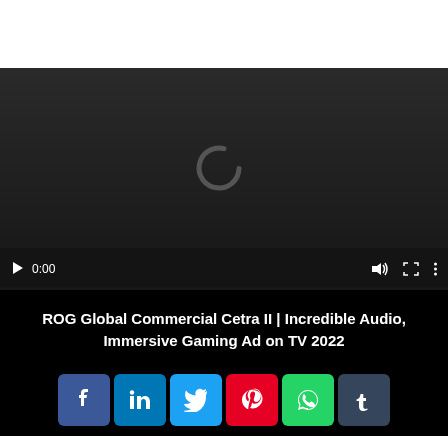[Figure (screenshot): Video player screenshot showing a loading spinner (C-shaped arc) on dark background with playback controls: play button, timestamp 0:00, volume, fullscreen, and menu icons, with a progress bar at bottom.]
ROG Global Commercial Cetra II | Incredible Audio, Immersive Gaming Ad on TV 2022
[Figure (infographic): Row of six social media sharing icons: Facebook (blue, f), LinkedIn (blue, in), Twitter (light blue, bird), Pinterest (red, P), WhatsApp (green, phone), Tumblr (dark blue, t)]